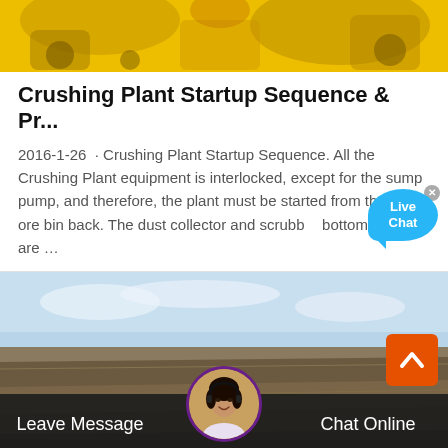[Figure (photo): Close-up photo of yellow industrial/mining equipment machinery]
Crushing Plant Startup Sequence & Pr...
2016-1-26 · Crushing Plant Startup Sequence. All the Crushing Plant equipment is interlocked, except for the sump pump, and therefore, the plant must be started from the fine ore bin back. The dust collector and scrubber bottoms pump are …
[Figure (photo): Aerial/wide photo of an open-pit mine with layered rocky terrain and sky]
[Figure (illustration): Live Chat bubble overlay with close button]
[Figure (photo): Circular avatar of a female customer service agent with headset, in bottom bar]